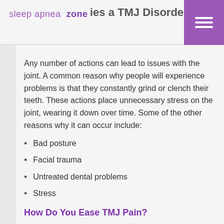sleep apnea zone — ies a TMJ Disorder?
Any number of actions can lead to issues with the joint. A common reason why people will experience problems is that they constantly grind or clench their teeth. These actions place unnecessary stress on the joint, wearing it down over time. Some of the other reasons why it can occur include:
Bad posture
Facial trauma
Untreated dental problems
Stress
How Do You Ease TMJ Pain?
If the source of the pain is caused by grinding teeth, then you should look into getting a mouth